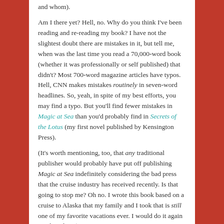and whom).
Am I there yet? Hell, no. Why do you think I've been reading and re-reading my book? I have not the slightest doubt there are mistakes in it, but tell me, when was the last time you read a 70,000-word book (whether it was professionally or self published) that didn't? Most 700-word magazine articles have typos. Hell, CNN makes mistakes routinely in seven-word headlines. So, yeah, in spite of my best efforts, you may find a typo. But you'll find fewer mistakes in Magic at Sea than you'd probably find in Secrets of the Lotus (my first novel published by Kensington Press).
(It's worth mentioning, too, that any traditional publisher would probably have put off publishing Magic at Sea indefinitely considering the bad press that the cruise industry has received recently. Is that going to stop me? Oh no. I wrote this book based on a cruise to Alaska that my family and I took that is still one of my favorite vacations ever. I would do it again in a heartbeat.)